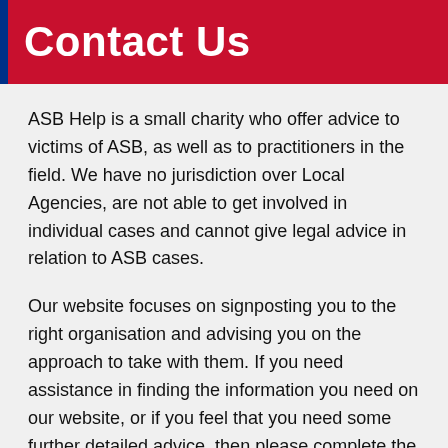Contact Us
ASB Help is a small charity who offer advice to victims of ASB, as well as to practitioners in the field. We have no jurisdiction over Local Agencies, are not able to get involved in individual cases and cannot give legal advice in relation to ASB cases.
Our website focuses on signposting you to the right organisation and advising you on the approach to take with them.  If you need assistance in finding the information you need on our website, or if you feel that you need some further detailed advice, then please complete the relevant form below and we will